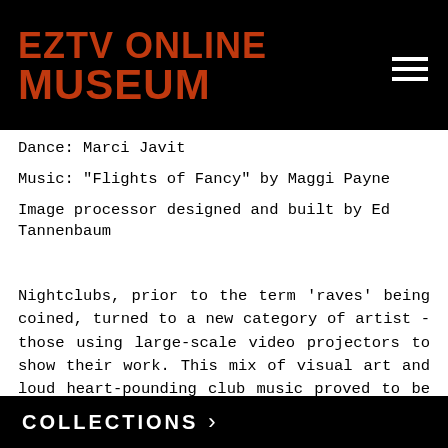EZTV ONLINE MUSEUM
Dance: Marci Javit
Music: "Flights of Fancy" by Maggi Payne
Image processor designed and built by Ed Tannenbaum
Nightclubs, prior to the term ‘raves’ being coined, turned to a new category of artist - those using large-scale video projectors to show their work. This mix of visual art and loud heart-pounding club music proved to be a winning
COLLECTIONS >